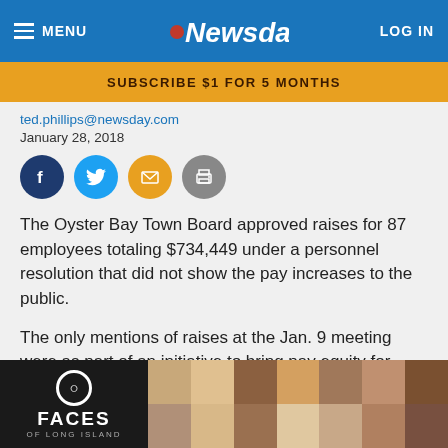MENU | Newsday | LOG IN
SUBSCRIBE $1 FOR 5 MONTHS
ted.phillips@newsday.com
January 28, 2018
[Figure (other): Social sharing icons: Facebook, Twitter, Email, Print]
The Oyster Bay Town Board approved raises for 87 employees totaling $734,449 under a personnel resolution that did not show the pay increases to the public.
The only mentions of raises at the Jan. 9 meeting were as part of an initiative to bring pay equity for women employees. The majority of the raises — 54 of them — were given to men, while 33 were given to women. Town officials provid... submi...
[Figure (photo): Faces of Long Island promotional banner with grid of headshot photos]